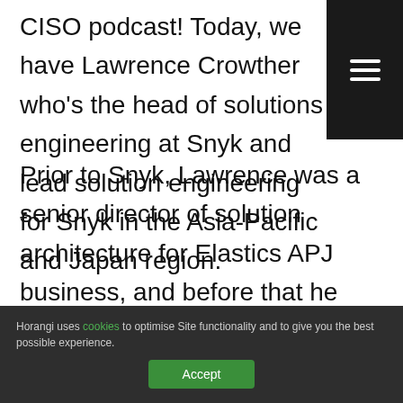CISO podcast! Today, we have Lawrence Crowther who's the head of solutions engineering at Snyk and lead solution engineering for Snyk in the Asia-Pacific and Japan region.
Prior to Snyk, Lawrence was a senior director of solution architecture for Elastics APJ business, and before that he spent six years at Pivotal Software and various
Horangi uses cookies to optimise Site functionality and to give you the best possible experience.